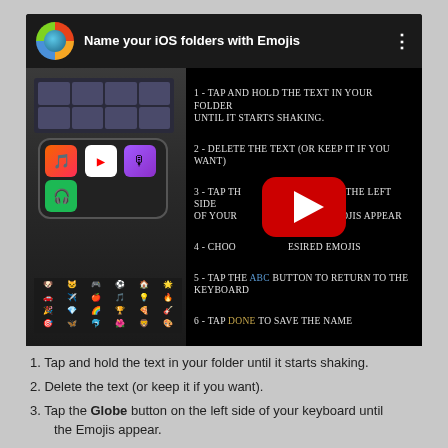[Figure (screenshot): YouTube video thumbnail titled 'Name your iOS folders with Emojis' showing a channel icon, video title in white text on dark background, phone screen with app icons, and 6 instructional steps overlaid on the right side with a YouTube play button in the center.]
1. Tap and hold the text in your folder until it starts shaking.
2. Delete the text (or keep it if you want).
3. Tap the Globe button on the left side of your keyboard until the Emojis appear.